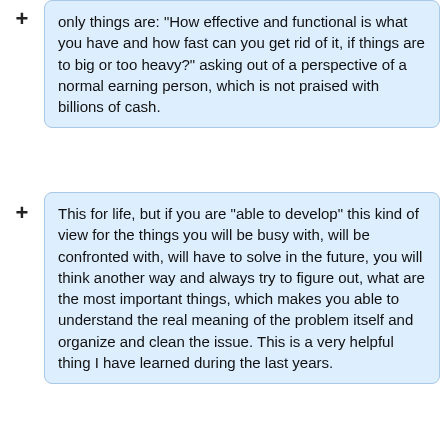only things are: 'How effective and functional is what you have and how fast can you get rid of it, if things are to big or too heavy?' asking out of a perspective of a normal earning person, which is not praised with billions of cash.
This for life, but if you are "able to develop" this kind of view for the things you will be busy with, will be confronted with, will have to solve in the future, you will think another way and always try to figure out, what are the most important things, which makes you able to understand the real meaning of the problem itself and organize and clean the issue. This is a very helpful thing I have learned during the last years.